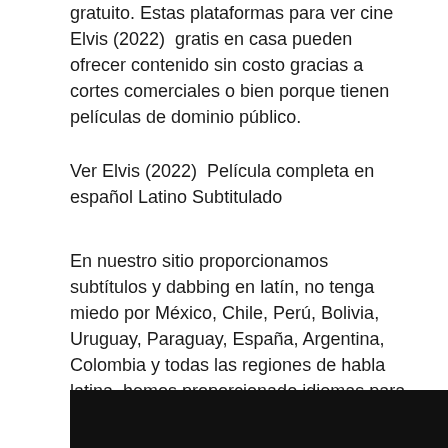gratuito. Estas plataformas para ver cine Elvis (2022)  gratis en casa pueden ofrecer contenido sin costo gracias a cortes comerciales o bien porque tienen películas de dominio público.
Ver Elvis (2022)  Película completa en español Latino Subtitulado
En nuestro sitio proporcionamos subtítulos y dabbing en latín, no tenga miedo por México, Chile, Perú, Bolivia, Uruguay, Paraguay, España, Argentina, Colombia y todas las regiones de habla latina, hemos proporcionado idiomas para sus Halloween Killsivas regiones. .Para disfrutar de todas estas funciones, puede registrarse y seguir en su cuenta premium.
[Figure (photo): Dark/black rectangle representing a video player or image thumbnail at the bottom of the page]